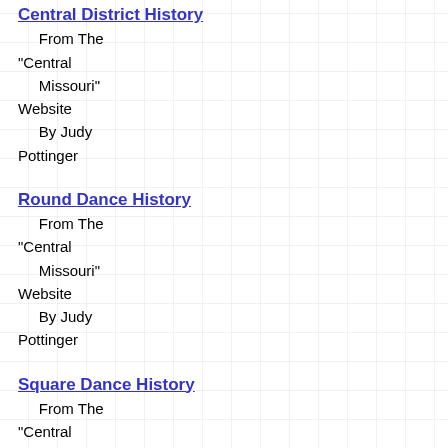Central District History
From The "Central Missouri" Website By Judy Pottinger
Round Dance History
From The "Central Missouri" Website By Judy Pottinger
Square Dance History
From The "Central Missouri" Website By Judy Pottinger
Updated 11/23/19